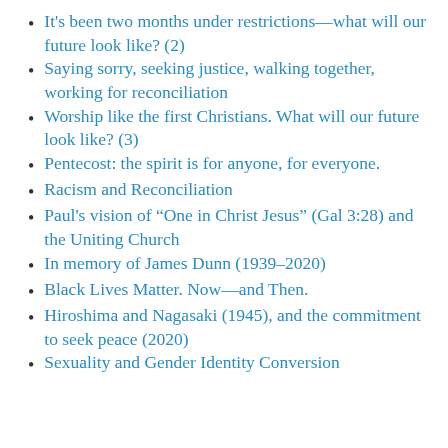It's been two months under restrictions—what will our future look like? (2)
Saying sorry, seeking justice, walking together, working for reconciliation
Worship like the first Christians. What will our future look like? (3)
Pentecost: the spirit is for anyone, for everyone.
Racism and Reconciliation
Paul's vision of “One in Christ Jesus” (Gal 3:28) and the Uniting Church
In memory of James Dunn (1939–2020)
Black Lives Matter. Now—and Then.
Hiroshima and Nagasaki (1945), and the commitment to seek peace (2020)
Sexuality and Gender Identity Conversion